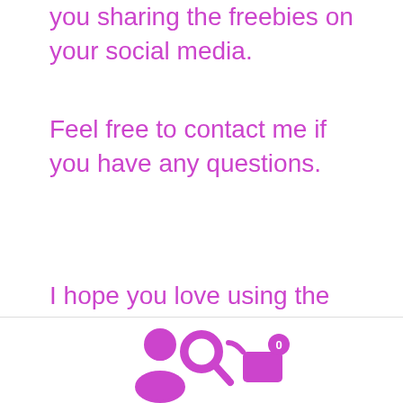you sharing the freebies on your social media.
Feel free to contact me if you have any questions.
I hope you love using the designs in your projects.
[Figure (screenshot): Advertisement banner with blue background, red diagonal ribbon with 'BID TO WIN!' text, close button (X), and decorative geometric/textured imagery on the right side.]
[Figure (infographic): Bottom navigation bar with three purple icons: user/person icon on the left, search/magnifying glass icon in the center, and shopping cart icon with badge showing '0' on the right.]